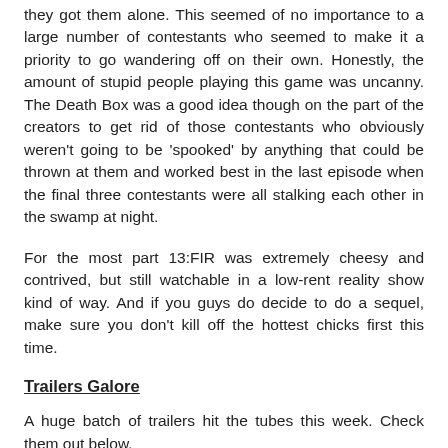they got them alone. This seemed of no importance to a large number of contestants who seemed to make it a priority to go wandering off on their own. Honestly, the amount of stupid people playing this game was uncanny. The Death Box was a good idea though on the part of the creators to get rid of those contestants who obviously weren't going to be 'spooked' by anything that could be thrown at them and worked best in the last episode when the final three contestants were all stalking each other in the swamp at night.
For the most part 13:FIR was extremely cheesy and contrived, but still watchable in a low-rent reality show kind of way. And if you guys do decide to do a sequel, make sure you don't kill off the hottest chicks first this time.
Trailers Galore
A huge batch of trailers hit the tubes this week. Check them out below.
The really real teaser for REC 2 (not that fan made imposter